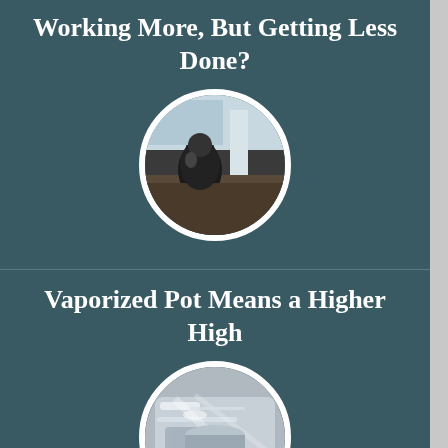Working More, But Getting Less Done?
[Figure (photo): Circular photo of a person sitting at a desk in an office environment, viewed from behind]
Vaporized Pot Means a Higher High
[Figure (photo): Circular photo of a metallic/glass vaporizer device]
Sleepy Drivers Involved in 100,000 Crashes a Year